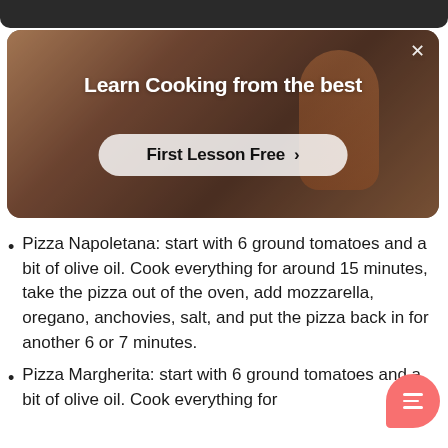[Figure (screenshot): Dark header strip at top of mobile screen]
[Figure (photo): Promotional banner card showing a person cooking in a kitchen with warm tones, with overlay text 'Learn Cooking from the best' and a 'First Lesson Free' call-to-action button and an X close button]
Pizza Napoletana: start with 6 ground tomatoes and a bit of olive oil. Cook everything for around 15 minutes, take the pizza out of the oven, add mozzarella, oregano, anchovies, salt, and put the pizza back in for another 6 or 7 minutes.
Pizza Margherita: start with 6 ground tomatoes and a bit of olive oil. Cook everything for